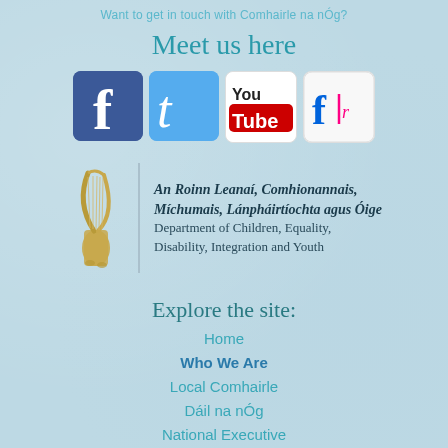Want to get in touch with Comhairle na nÓg?
Meet us here
[Figure (logo): Row of social media icons: Facebook, Twitter, YouTube, Flickr]
[Figure (logo): Irish Government harp logo with vertical divider and Department of Children, Equality, Disability, Integration and Youth text in Irish and English]
Explore the site:
Home
Who We Are
Local Comhairle
Dáil na nÓg
National Executive
Resources
Website Maintenance By Arrow Design